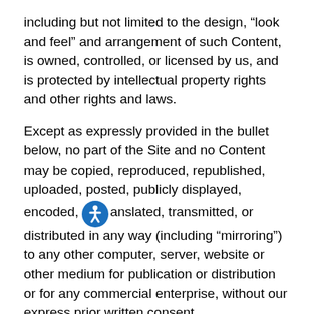including but not limited to the design, “look and feel” and arrangement of such Content, is owned, controlled, or licensed by us, and is protected by intellectual property rights and other rights and laws.
Except as expressly provided in the bullet below, no part of the Site and no Content may be copied, reproduced, republished, uploaded, posted, publicly displayed, encoded, translated, transmitted, or distributed in any way (including “mirroring”) to any other computer, server, website or other medium for publication or distribution or for any commercial enterprise, without our express prior written consent.
Limited Permitted Use of Content. You may use and download Content from the Site only in furtherance of the mission, membership, and charitable and fraternal activities of: